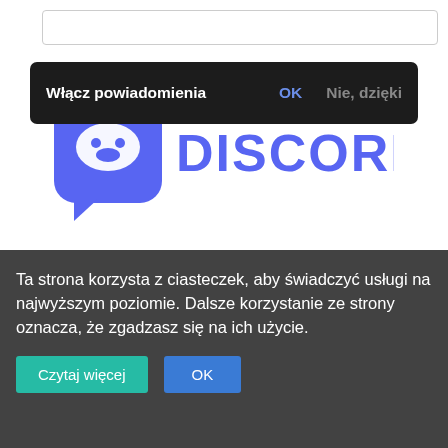[Figure (screenshot): Top browser address bar area, white background with search/address input field]
[Figure (screenshot): Mobile notification popup with dark background: 'Włącz powiadomienia' with OK and 'Nie, dzięki' buttons]
[Figure (logo): Discord logo - blue speech bubble icon with white controller icon and 'DISCORD' text in blue]
[Figure (photo): Open book spread showing 'MALARZ' text on dark artistic cover with green/teal artwork visible]
Ta strona korzysta z ciasteczek, aby świadczyć usługi na najwyższym poziomie. Dalsze korzystanie ze strony oznacza, że zgadzasz się na ich użycie.
Czytaj więcej
OK